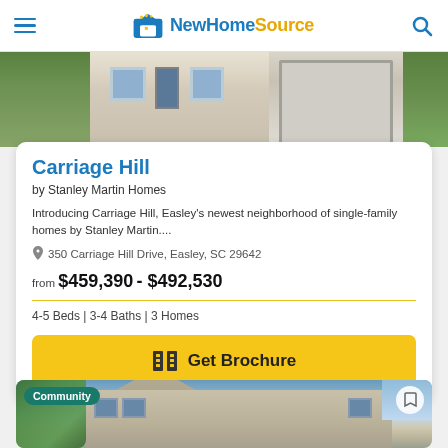NewHomeSource
[Figure (photo): Exterior photo of a single-family home with blue shutters, brick facade, and garage door, partially visible.]
Carriage Hill
by Stanley Martin Homes
Introducing Carriage Hill, Easley's newest neighborhood of single-family homes by Stanley Martin....
350 Carriage Hill Drive, Easley, SC 29642
from $459,390 - $492,530
4-5 Beds | 3-4 Baths | 3 Homes
Get Brochure
[Figure (photo): Exterior photo of a two-story single-family home with tan siding, blue shutters, and a landscaped yard under a partly cloudy sky. Community badge shown.]